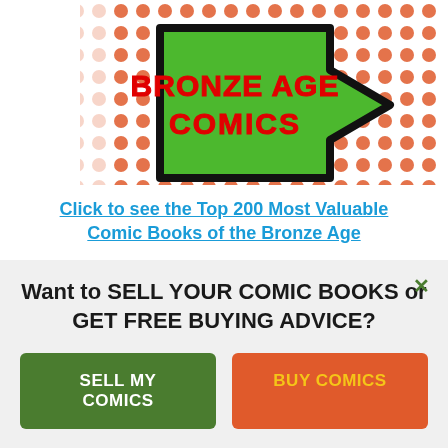[Figure (logo): Bronze Age Comics logo: a large green arrow pointing right with 'BRONZE AGE COMICS' in bold red text, on a background of orange polka dots.]
Click to see the Top 200 Most Valuable Comic Books of the Bronze Age
Want to SELL YOUR COMIC BOOKS or GET FREE BUYING ADVICE?
SELL MY COMICS
BUY COMICS